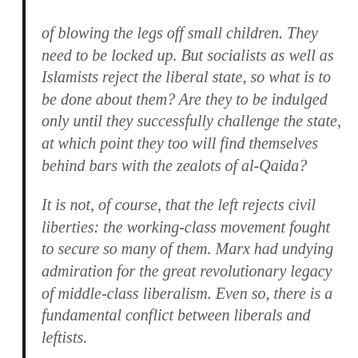of blowing the legs off small children. They need to be locked up. But socialists as well as Islamists reject the liberal state, so what is to be done about them? Are they to be indulged only until they successfully challenge the state, at which point they too will find themselves behind bars with the zealots of al-Qaida?

It is not, of course, that the left rejects civil liberties: the working-class movement fought to secure so many of them. Marx had undying admiration for the great revolutionary legacy of middle-class liberalism. Even so, there is a fundamental conflict between liberals and leftists.